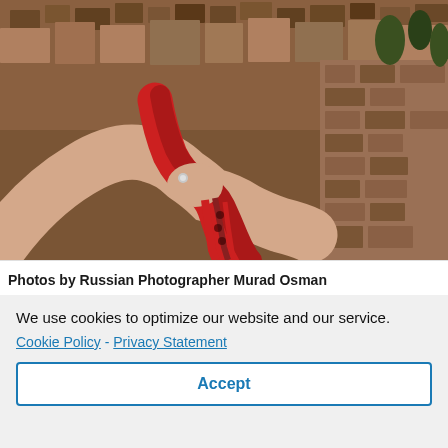[Figure (photo): A person's arm reaching out holding a red scarf/fabric, photographed from above with a stone wall and aerial view of a city with dense buildings and trees in the background. Warm earth tones.]
Photos by Russian Photographer Murad Osman
We use cookies to optimize our website and our service.
Cookie Policy - Privacy Statement
Accept